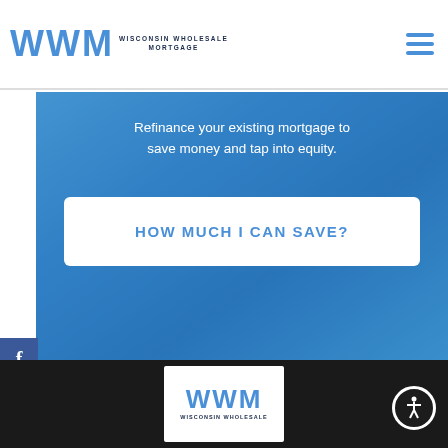[Figure (logo): WWM Wisconsin Wholesale Mortgage logo with blue letters and hamburger menu icon]
[Figure (photo): Blue-tinted hero banner image of a modern building/pool with overlay text and a call-to-action button]
Refinance your existing mortgage to save money and tap into equity.
HOW MUCH I CAN SAVE?
[Figure (infographic): Social media sidebar with Facebook, Twitter, LinkedIn, and Pinterest icons]
[Figure (logo): WWM Wisconsin Wholesale footer logo on dark background]
[Figure (infographic): Accessibility icon button - person in circle]